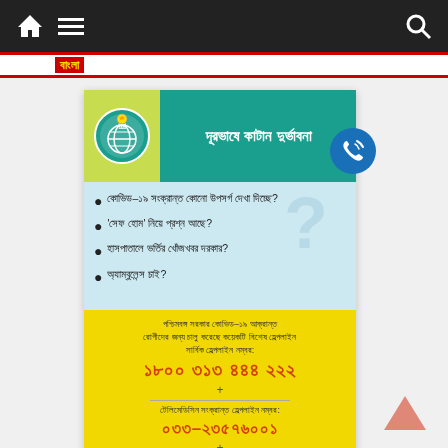Navigation bar with home, menu, and search icons
[Figure (infographic): West Bengal Government COVID-19 helpline information card in Bengali. Shows logo, title 'দূরভাষে কাটান দুর্ভাবনা', bullet points with questions about COVID-19 symptoms, safe home, hospital info, ambulance. Yellow section with helpline numbers: 1800 313 444 222 (general), 033-23576001 (telemedicine), 033-40902929 (COVID-19 ambulance/health service). Teal footer: স্বাস্থ্য ও পরিবার কল্যাণ বিভাগ, পশ্চিমবঙ্গ সরকার.]